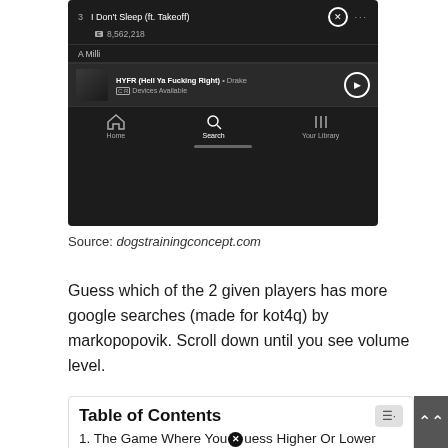[Figure (screenshot): Spotify app screenshot showing a dark-themed music player interface. Track #3 'I Don't Sleep (ft. Takeoff)' with 8,562,218 plays and a close button. Below is 'A Milli' section. Now playing bar shows 'HYFR (Hell Ya Fucking Right) • Drake' with Devices Available. Bottom navigation shows Home, Search (active), and Your Library icons with a home indicator pill.]
Source: dogstrainingconcept.com
Guess which of the 2 given players has more google searches (made for kot4q) by markopopovik. Scroll down until you see volume level.
Table of Contents
1. The Game Where You Guess Higher Or Lower